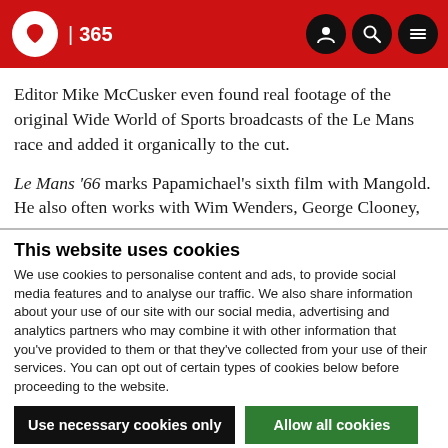BBC 365
Editor Mike McCusker even found real footage of the original Wide World of Sports broadcasts of the Le Mans race and added it organically to the cut.
Le Mans '66 marks Papamichael's sixth film with Mangold. He also often works with Wim Wenders, George Clooney,
This website uses cookies
We use cookies to personalise content and ads, to provide social media features and to analyse our traffic. We also share information about your use of our site with our social media, advertising and analytics partners who may combine it with other information that you've provided to them or that they've collected from your use of their services. You can opt out of certain types of cookies below before proceeding to the website.
Use necessary cookies only
Allow all cookies
Show details